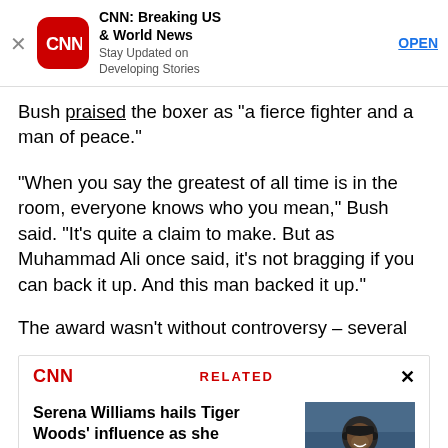[Figure (screenshot): CNN app advertisement banner with red CNN logo icon, bold title 'CNN: Breaking US & World News', subtitle 'Stay Updated on Developing Stories', and blue 'OPEN' link]
Bush praised the boxer as “a fierce fighter and a man of peace.”
“When you say the greatest of all time is in the room, everyone knows who you mean,” Bush said. “It’s quite a claim to make. But as Muhammad Ali once said, it’s not bragging if you can back it up. And this man backed it up.”
The award wasn’t without controversy – several
[Figure (screenshot): CNN Related article box with CNN logo in red, 'RELATED' label in red, X close button, article title 'Serena Williams hails Tiger Woods' influence as she continues her US Open run', and thumbnail photo of a smiling man in a cap outdoors]